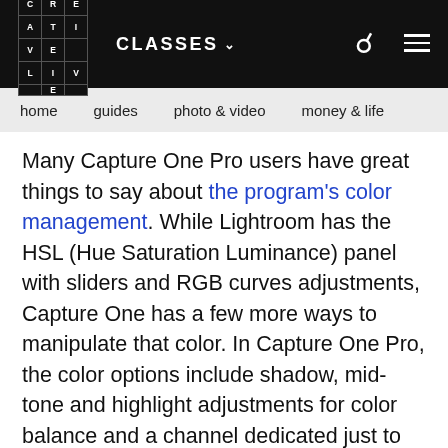CLASSES  [search icon]  [menu icon]
home   guides   photo & video   money & life
Many Capture One Pro users have great things to say about the program's color management. While Lightroom has the HSL (Hue Saturation Luminance) panel with sliders and RGB curves adjustments, Capture One has a few more ways to manipulate that color. In Capture One Pro, the color options include shadow, mid-tone and highlight adjustments for color balance and a channel dedicated just to adjusting skin tones, making it easy to remove skin redness. Capture One also has a luminance curves adjustment option.